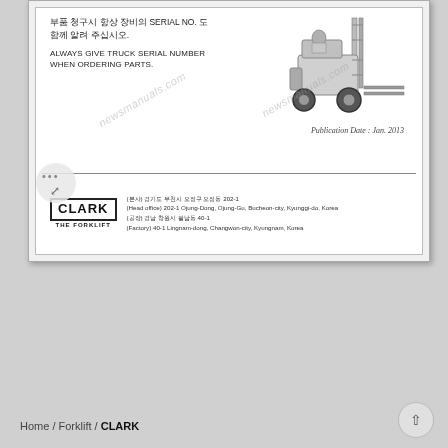부품 청구시 항상 장비의 SERIAL NO. 도 함께 알려 주십시오. ALWAYS GIVE TRUCK SERIAL NUMBER WHEN ORDERING PARTS.
[Figure (illustration): Clark forklift truck illustration shown in side profile view, greyscale]
Publication Date : Jan. 2013
CLARK THE FORKLIFT (본사) 경기도 부천시 오정구 오정동 202-1 (Head office) 202-1 Ojung-Dong, Ojung-Gu, Bucheon-city, Kyunggi-do, Korea (공장) 경남 창원시 팔남동 40-1 (Factory) 40-1 Lingnam-dong, Changwon-city, Kyungnam, Korea
Home / Forklift / CLARK